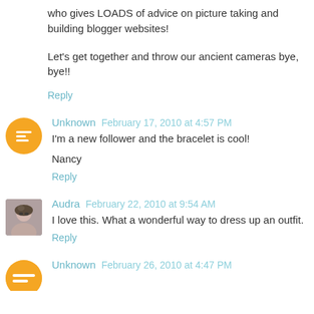who gives LOADS of advice on picture taking and building blogger websites!
Let's get together and throw our ancient cameras bye, bye!!
Reply
Unknown  February 17, 2010 at 4:57 PM
I'm a new follower and the bracelet is cool!
Nancy
Reply
Audra  February 22, 2010 at 9:54 AM
I love this. What a wonderful way to dress up an outfit.
Reply
Unknown  February 26, 2010 at 4:47 PM